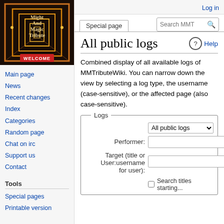[Figure (illustration): Might And Magic Tribute logo image showing a hallway with glowing doorways and a WELCOME mat, dark fantasy game aesthetic]
Main page
News
Recent changes
Index
Categories
Random page
Chat on irc
Support us
Contact
Tools
Special pages
Printable version
Log in
Special page
All public logs
Combined display of all available logs of MMTributeWiki. You can narrow down the view by selecting a log type, the username (case-sensitive), or the affected page (also case-sensitive).
Logs form: All public logs, Performer, Target (title or User:username for user), Search titles starting...